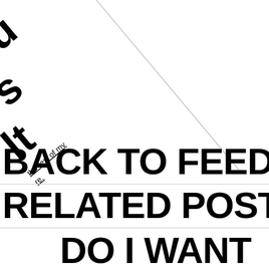" su
t s
lt
the rest of my
re.
BACK TO FEED
RELATED POST
DO I WANT